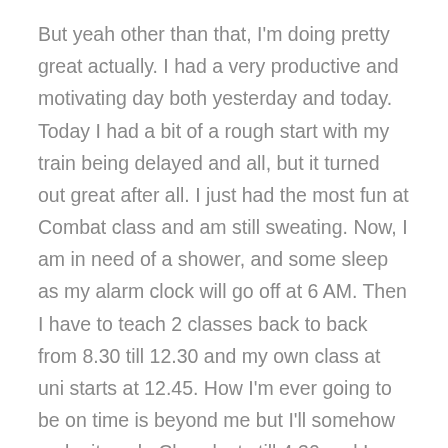But yeah other than that, I'm doing pretty great actually. I had a very productive and motivating day both yesterday and today. Today I had a bit of a rough start with my train being delayed and all, but it turned out great after all. I just had the most fun at Combat class and am still sweating. Now, I am in need of a shower, and some sleep as my alarm clock will go off at 6 AM. Then I have to teach 2 classes back to back from 8.30 till 12.30 and my own class at uni starts at 12.45. How I'm ever going to be on time is beyond me but I'll somehow make it work. Class lasts till 4.30 and I won't be home until 7 PM and dance class starts at 8 PM. I need to have dinner, prepare next day's lunch and lay out my clothes in between that.